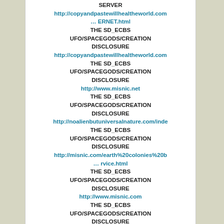SERVER
http://copyandpastewillhealtheworld.com
… ERNET.html
THE SD_ECBS
UFO/SPACEGODS/CREATION
DISCLOSURE
http://copyandpastewillhealtheworld.com
THE SD_ECBS
UFO/SPACEGODS/CREATION
DISCLOSURE
http://www.misnic.net
THE SD_ECBS
UFO/SPACEGODS/CREATION
DISCLOSURE
http://noalienbutuniversalnature.com/inde
THE SD_ECBS
UFO/SPACEGODS/CREATION
DISCLOSURE
http://misnic.com/earth%20colonies%20b
… rvice.html
THE SD_ECBS
UFO/SPACEGODS/CREATION
DISCLOSURE
http://www.misnic.com
THE SD_ECBS
UFO/SPACEGODS/CREATION
DISCLOSURE
http://misnic.com/sd_ecbs%20creation%2
THE SD_ECBS
UFO/SPACEGODS/CREATION
DISCLOSURE